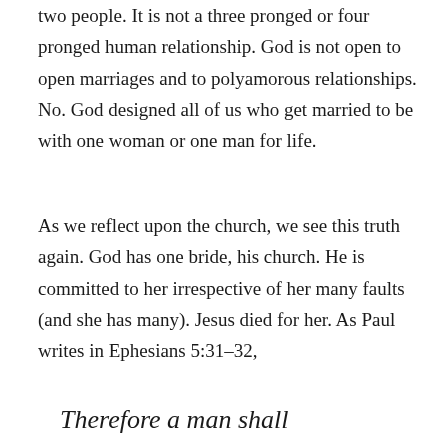two people. It is not a three pronged or four pronged human relationship. God is not open to open marriages and to polyamorous relationships. No. God designed all of us who get married to be with one woman or one man for life.
As we reflect upon the church, we see this truth again. God has one bride, his church. He is committed to her irrespective of her many faults (and she has many). Jesus died for her. As Paul writes in Ephesians 5:31–32,
Therefore a man shall